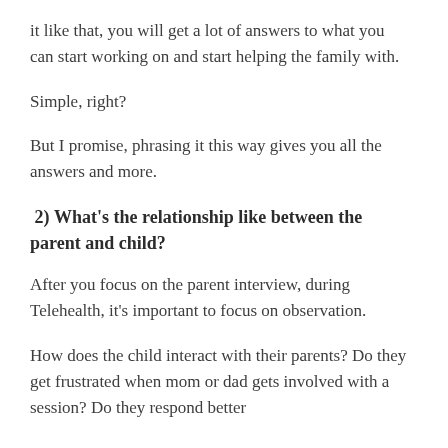it like that, you will get a lot of answers to what you can start working on and start helping the family with.
Simple, right?
But I promise, phrasing it this way gives you all the answers and more.
2) What's the relationship like between the parent and child?
After you focus on the parent interview, during Telehealth, it's important to focus on observation.
How does the child interact with their parents? Do they get frustrated when mom or dad gets involved with a session? Do they respond better